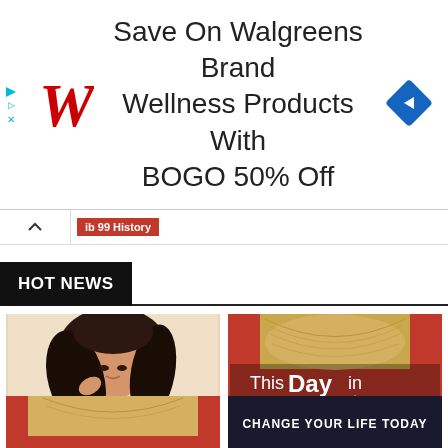[Figure (screenshot): Walgreens advertisement banner showing red W logo, text 'Save On Walgreens Brand Wellness Products With BOGO 50% Off', and blue diamond navigation icon]
[Figure (screenshot): Navigation bar with up chevron button and red category tag showing 'ib 99 History']
HOT NEWS
[Figure (photo): Priyanka Chopra photo - celebrity with flowing dark hair and hands near face, white background]
Celebrities
Priyanka Chopra Biography, Wiki, Age, Boyfriend, Husband, Height & More
[Figure (screenshot): This Day in History graphic with red background, book image, and text 'This Day in HISTORY' with 'On This Day' badge and 'ry 13 History' overlay]
On This Day
Today in India and World History on February 13
[Figure (screenshot): Partial bottom-left card showing red background with book image]
[Figure (screenshot): Partial bottom-right card showing dark background with text 'CHANGE YOUR LIFE TODAY']